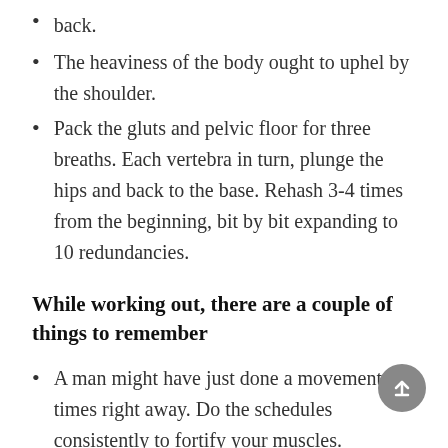back.
The heaviness of the body ought to uphel by the shoulder.
Pack the gluts and pelvic floor for three breaths. Each vertebra in turn, plunge the hips and back to the base. Rehash 3-4 times from the beginning, bit by bit expanding to 10 redundancies.
While working out, there are a couple of things to remember
A man might have just done a movement 3-4 times right away. Do the schedules consistently to fortify your muscles.
Consistently, move gradually up to 10